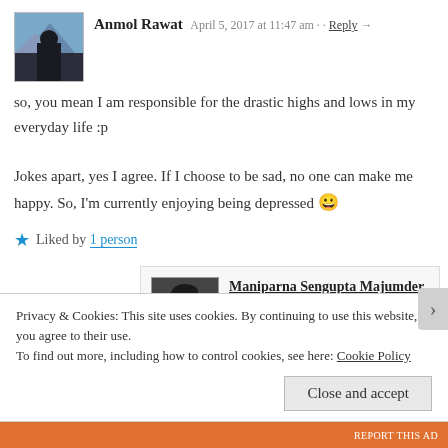Anmol Rawat — April 5, 2017 at 11:47 am · · Reply →
so, you mean I am responsible for the drastic highs and lows in my everyday life :p

Jokes apart, yes I agree. If I choose to be sad, no one can make me happy. So, I'm currently enjoying being depressed 😀
★ Liked by 1 person
Maniparna Sengupta Majumder — April 6, 2017 at 1:59 am · · Reply →
Enjoying being depressed- that's a highly oxymoronic expression and I loved that... 😀
Privacy & Cookies: This site uses cookies. By continuing to use this website, you agree to their use.
To find out more, including how to control cookies, see here: Cookie Policy
Close and accept